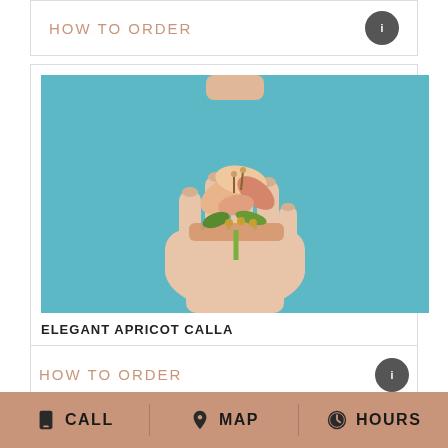HOW TO ORDER
[Figure (photo): A wrist corsage made of elegant apricot calla lilies with peach ribbon and gold beads, worn on a hand against a teal background.]
ELEGANT APRICOT CALLA
HOW TO ORDER
CALL  MAP  HOURS